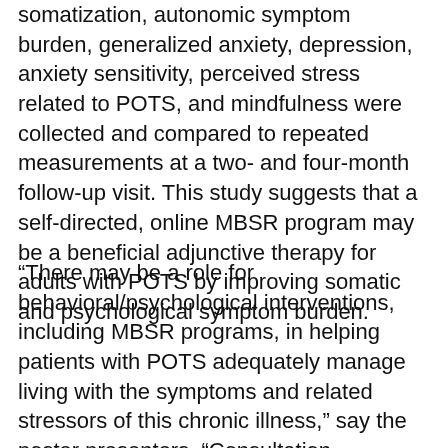somatization, autonomic symptom burden, generalized anxiety, depression, anxiety sensitivity, perceived stress related to POTS, and mindfulness were collected and compared to repeated measurements at a two- and four-month follow-up visit. This study suggests that a self-directed, online MBSR program may be a beneficial adjunctive therapy for adults with POTS by improving somatic and psychological symptom burden.
“There may be a role for behavioral/psychological interventions, including MBSR programs, in helping patients with POTS adequately manage living with the symptoms and related stressors of this chronic illness,” say the poster presenters. “Consultation psychiatrists may be the first to offer such interventions as an adjunctive treatment when seeing patients with high symptom burdens in the hospital or outpatient clinic.”